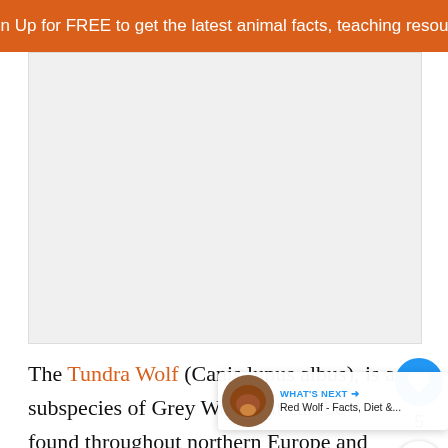Sign Up for FREE to get the latest animal facts, teaching resource
[Figure (photo): Photo placeholder area showing a wolf image (Tundra Wolf)]
The Tundra Wolf (Canis lupus albus), is a subspecies of Grey Wolf that can be found throughout northern Europe and Asia, primarily in the northern arctic and boreal regions of Russia.